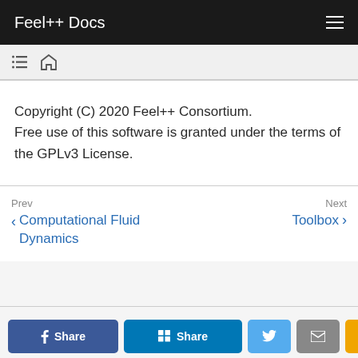Feel++ Docs
Copyright (C) 2020 Feel++ Consortium. Free use of this software is granted under the terms of the GPLv3 License.
Prev
< Computational Fluid Dynamics
Next
Toolbox >
f Share  in Share  [Twitter]  [Mail]  [Message]